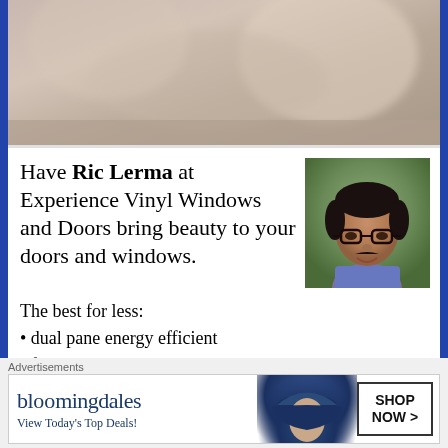[Figure (photo): Blurred photo of a person, shown from behind/side, soft warm tones]
Have Ric Lerma at Experience Vinyl Windows and Doors bring beauty to your doors and windows.
[Figure (photo): Headshot of a middle-aged man with dark hair, glasses, and a colorful shirt]
The best for less:
dual pane energy efficient
factory direct
professional installation
lifetime warranty
patio doors
Advertisements
[Figure (screenshot): Bloomingdale's advertisement banner: bloomingdales logo, View Today's Top Deals!, woman with hat, SHOP NOW > button]